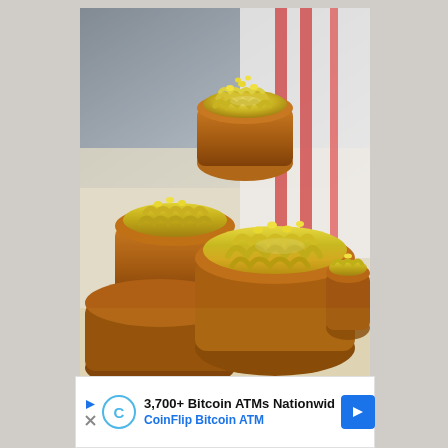[Figure (photo): Close-up photo of baked macaroni and cheese bites/cups piled on a surface with a red and white striped cloth in the background. The mac and cheese cups have golden-brown crispy exteriors with cheesy macaroni pasta visible on top.]
3,700+ Bitcoin ATMs Nationwid
CoinFlip Bitcoin ATM